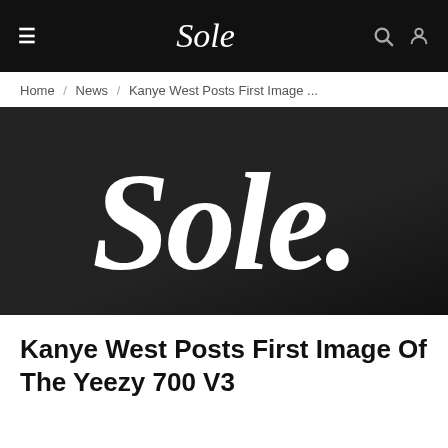≡  Sole  🔍  👤
Home / News / Kanye West Posts First Image ...
[Figure (logo): Sole logo in large white script italic text on dark background]
Kanye West Posts First Image Of The Yeezy 700 V3